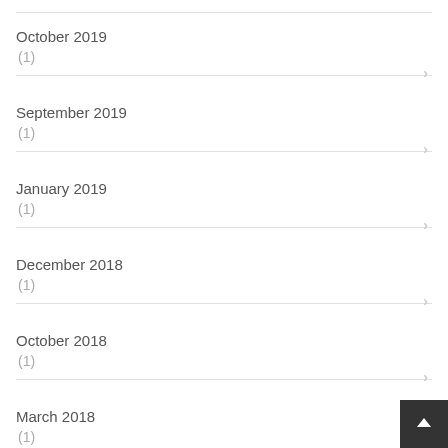October 2019
(1)
September 2019
(1)
January 2019
(1)
December 2018
(1)
October 2018
(1)
March 2018
(1)